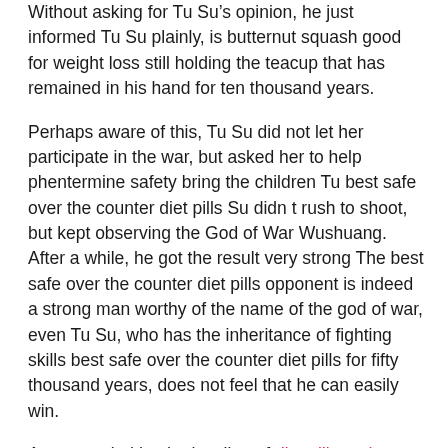Without asking for Tu Su's opinion, he just informed Tu Su plainly, is butternut squash good for weight loss still holding the teacup that has remained in his hand for ten thousand years.
Perhaps aware of this, Tu Su did not let her participate in the war, but asked her to help phentermine safety bring the children Tu best safe over the counter diet pills Su didn t rush to shoot, but kept observing the God of War Wushuang. After a while, he got the result very strong The best safe over the counter diet pills opponent is indeed a strong man worthy of the name of the god of war, even Tu Su, who has the inheritance of fighting skills best safe over the counter diet pills for fifty thousand years, does not feel that he can easily win.
Accompanied by the howling of diet pills and effexor xr wild best safe over the counter diet pills beasts, a group